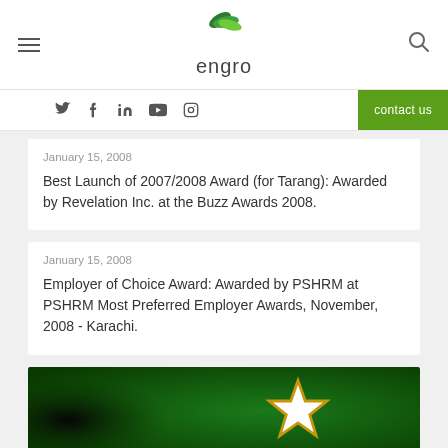engro
January 15, 2008
Best Launch of 2007/2008 Award (for Tarang): Awarded by Revelation Inc. at the Buzz Awards 2008.
January 15, 2008
Employer of Choice Award: Awarded by PSHRM at PSHRM Most Preferred Employer Awards, November, 2008 - Karachi.
[Figure (photo): Green background with a gold star trophy award on a dark to green gradient background]